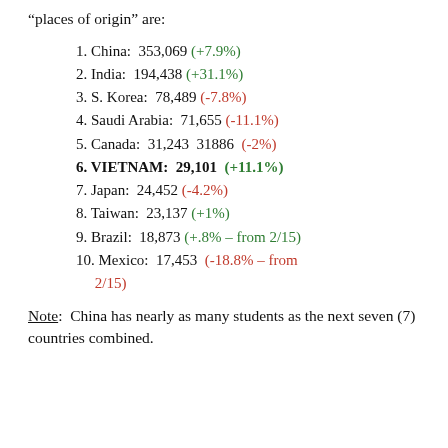“places of origin” are:
1. China:  353,069 (+7.9%)
2. India:  194,438 (+31.1%)
3. S. Korea:  78,489 (-7.8%)
4. Saudi Arabia:  71,655 (-11.1%)
5. Canada:  31,243  31886  (-2%)
6. VIETNAM:  29,101  (+11.1%)
7. Japan:  24,452 (-4.2%)
8. Taiwan:  23,137 (+1%)
9. Brazil:  18,873 (+.8% – from 2/15)
10. Mexico:  17,453  (-18.8% – from 2/15)
Note:  China has nearly as many students as the next seven (7) countries combined.